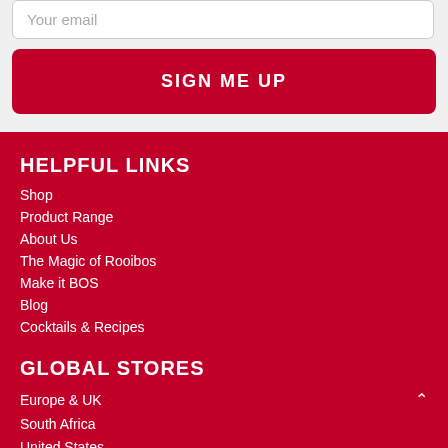Your email
SIGN ME UP
HELPFUL LINKS
Shop
Product Range
About Us
The Magic of Rooibos
Make it BOS
Blog
Cocktails & Recipes
GLOBAL STORES
Europe & UK
South Africa
United States